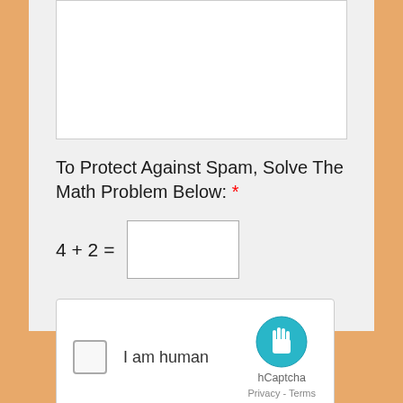[Figure (screenshot): White textarea input box (empty), cropped at top]
To Protect Against Spam, Solve The Math Problem Below: *
[Figure (screenshot): hCaptcha widget with checkbox labeled 'I am human', hCaptcha logo, Privacy - Terms links]
Yes, I'd Like a Free Quote!